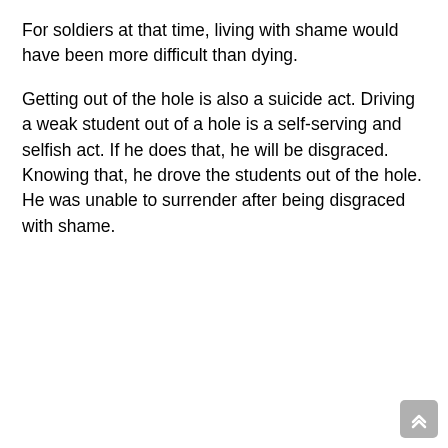For soldiers at that time, living with shame would have been more difficult than dying.
Getting out of the hole is also a suicide act. Driving a weak student out of a hole is a self-serving and selfish act. If he does that, he will be disgraced. Knowing that, he drove the students out of the hole. He was unable to surrender after being disgraced with shame.